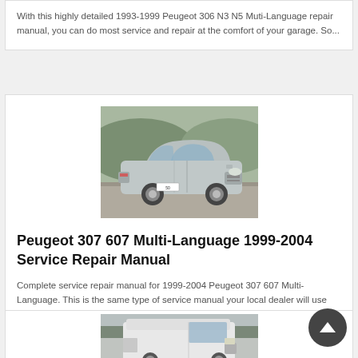With this highly detailed 1993-1999 Peugeot 306 N3 N5 Muti-Language repair manual, you can do most service and repair at the comfort of your garage. So...
[Figure (photo): Photograph of a silver Peugeot 607 sedan parked on a gravel surface with trees/hills in the background]
Peugeot 307 607 Multi-Language 1999-2004 Service Repair Manual
Complete service repair manual for 1999-2004 Peugeot 307 607 Multi-Language. This is the same type of service manual your local dealer will use when doing a...
[Figure (photo): Photograph of a white Peugeot van (partial, bottom of page)]